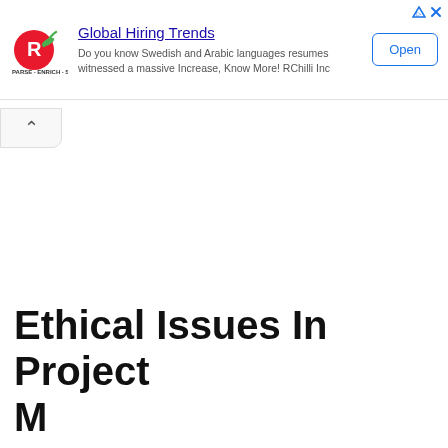[Figure (other): Advertisement banner for RChilli featuring logo, text about Global Hiring Trends, and Open button]
Ethical Issues In Project Management